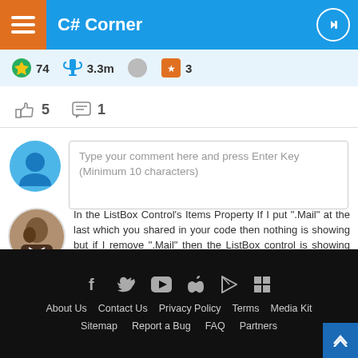C# Corner
74  3.3m  3
5  1
Type your comment here and press Enter Key (Minimum 10 characters)
In the ListBox Control's Items Property If I put ".Mail" at the last which you shared in your code then nothing is showing but if I remove ".Mail" then the ListBox control is showing result.
Humayun Kabir Mamun
Apr 20, 2020
408 • 5.6k • 300
0  0  Reply
About Us  Contact Us  Privacy Policy  Terms  Media Kit  Sitemap  Report a Bug  FAQ  Partners